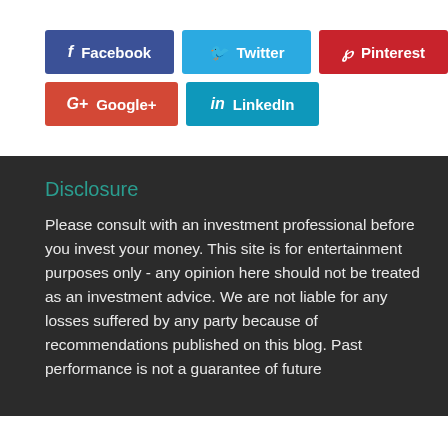[Figure (infographic): Social media share buttons: Facebook (blue), Twitter (light blue), Pinterest (red) on first row; Google+ (red-orange) and LinkedIn (teal) on second row]
Disclosure
Please consult with an investment professional before you invest your money. This site is for entertainment purposes only - any opinion here should not be treated as an investment advice. We are not liable for any losses suffered by any party because of recommendations published on this blog. Past performance is not a guarantee of future